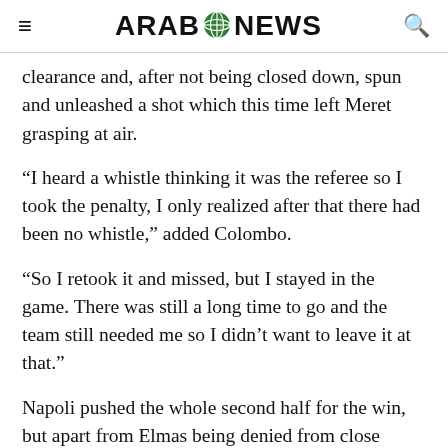ARAB NEWS
clearance and, after not being closed down, spun and unleashed a shot which this time left Meret grasping at air.
“I heard a whistle thinking it was the referee so I took the penalty, I only realized after that there had been no whistle,” added Colombo.
“So I retook it and missed, but I stayed in the game. There was still a long time to go and the team still needed me so I didn’t want to leave it at that.”
Napoli pushed the whole second half for the win, but apart from Elmas being denied from close range soon after the break and Victor Osimhen